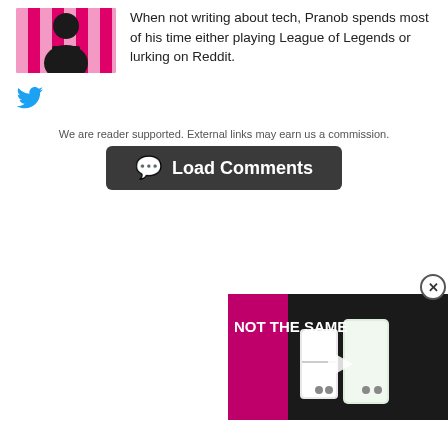[Figure (photo): Author photo of Pranob, a man in a black shirt against a pink striped background]
When not writing about tech, Pranob spends most of his time either playing League of Legends or lurking on Reddit.
[Figure (logo): Twitter bird icon]
We are reader supported. External links may earn us a commission.
Load Comments
[Figure (screenshot): Video thumbnail showing text NOT THE SAME with phone devices on a pink background, with a play button overlay]